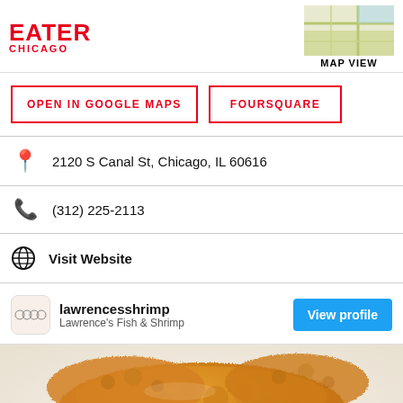EATER CHICAGO
OPEN IN GOOGLE MAPS
FOURSQUARE
2120 S Canal St, Chicago, IL 60616
(312) 225-2113
Visit Website
lawrencesshrimp
Lawrence's Fish & Shrimp
View profile
[Figure (photo): Close-up photo of golden-brown fried fish/shrimp pieces]